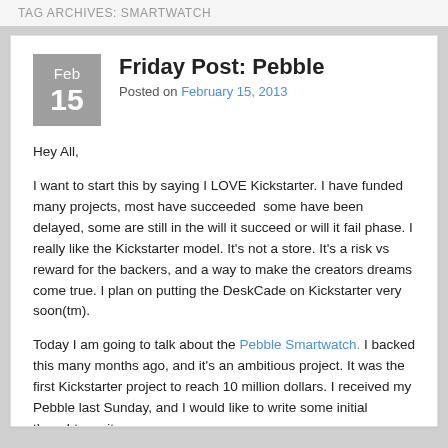TAG ARCHIVES: SMARTWATCH
Friday Post: Pebble
Posted on February 15, 2013
Hey All,
I want to start this by saying I LOVE Kickstarter.  I have funded many projects, most have succeeded  some have been delayed, some are still in the will it succeed or will it fail phase.  I really like the Kickstarter model.  It's not a store.  It's a risk vs reward for the backers, and a way to make the creators dreams come true.  I plan on putting the DeskCade on Kickstarter very soon(tm).
Today I am going to talk about the Pebble Smartwatch.  I backed this many months ago, and it's an ambitious project.  It was the first Kickstarter project to reach 10 million dollars.  I received my Pebble last Sunday, and I would like to write some initial thoughts on it.
TL;DR Cliffs Notes:  It's got potential, with a firmware update it will be awesome, but it's just not there yet.